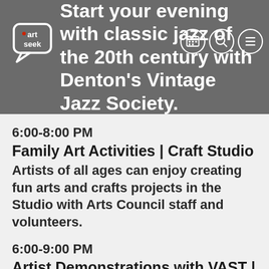Start your evening with classic jazz of the 20th century with Denton's Vintage Jazz Society.
[Figure (logo): Art Seek logo — speech bubble with 'art seek' text]
[Figure (infographic): Navigation icons: calendar, search, and menu (hamburger) in circular outlines]
6:00-8:00 PM
Family Art Activities | Craft Studio
Artists of all ages can enjoy creating fun arts and crafts projects in the Studio with Arts Council staff and volunteers.
6:00-9:00 PM
Artist Demonstrations with VAST | Meadows and Gough